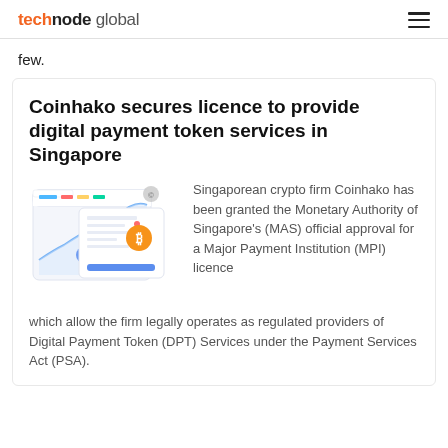technode global
few.
Coinhako secures licence to provide digital payment token services in Singapore
[Figure (illustration): Screenshot/illustration of a crypto trading dashboard interface with a line chart and coin icons including an orange Bitcoin icon]
Singaporean crypto firm Coinhako has been granted the Monetary Authority of Singapore's (MAS) official approval for a Major Payment Institution (MPI) licence which allow the firm legally operates as regulated providers of Digital Payment Token (DPT) Services under the Payment Services Act (PSA).